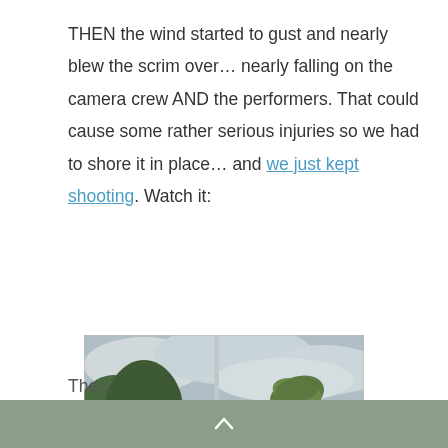THEN the wind started to gust and nearly blew the scrim over… nearly falling on the camera crew AND the performers. That could cause some rather serious injuries so we had to shore it in place… and we just kept shooting. Watch it:
[Figure (photo): Outdoor photo showing a tall metal pole/scrim stand, trees with green foliage, palm trees, cloudy sky, and dark building structures in background. A circular play button overlay is centered on the image indicating a video thumbnail.]
The...